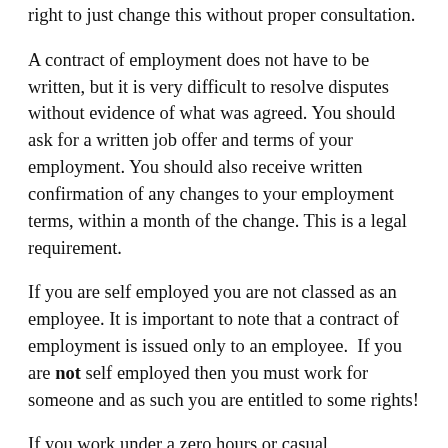right to just change this without proper consultation.
A contract of employment does not have to be written, but it is very difficult to resolve disputes without evidence of what was agreed. You should ask for a written job offer and terms of your employment. You should also receive written confirmation of any changes to your employment terms, within a month of the change. This is a legal requirement.
If you are self employed you are not classed as an employee. It is important to note that a contract of employment is issued only to an employee.  If you are not self employed then you must work for someone and as such you are entitled to some rights!
If you work under a zero hours or casual arrangement, you are probably a “worker”  in employment terms and it is